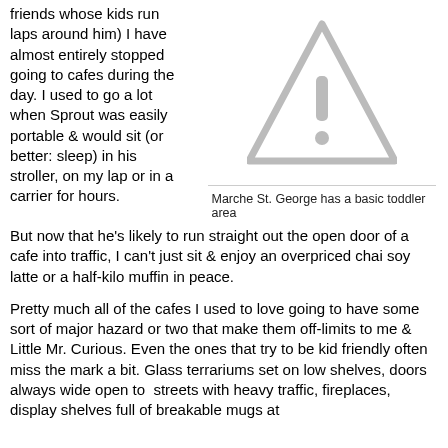friends whose kids run laps around him) I have almost entirely stopped going to cafes during the day. I used to go a lot when Sprout was easily portable & would sit (or better: sleep) in his stroller, on my lap or in a carrier for hours. But now that he's likely to run straight out the open door of a cafe into traffic, I can't just sit & enjoy an overpriced chai soy latte or a half-kilo muffin in peace.
[Figure (illustration): Warning/caution triangle icon with exclamation mark, grey colored]
Marche St. George has a basic toddler area
Pretty much all of the cafes I used to love going to have some sort of major hazard or two that make them off-limits to me & Little Mr. Curious. Even the ones that try to be kid friendly often miss the mark a bit. Glass terrariums set on low shelves, doors always wide open to streets with heavy traffic, fireplaces, display shelves full of breakable mugs at